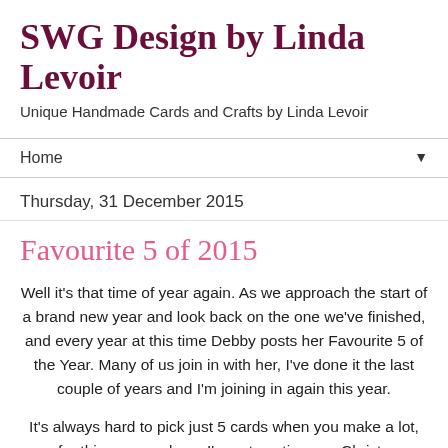SWG Design by Linda Levoir
Unique Handmade Cards and Crafts by Linda Levoir
Home ▼
Thursday, 31 December 2015
Favourite 5 of 2015
Well it's that time of year again. As we approach the start of a brand new year and look back on the one we've finished, and every year at this time Debby posts her Favourite 5 of the Year. Many of us join in with her, I've done it the last couple of years and I'm joining in again this year.
It's always hard to pick just 5 cards when you make a lot, so for this reason alone, I'm not posting any Christmas cards in this pick and I'll make a separate post for those.